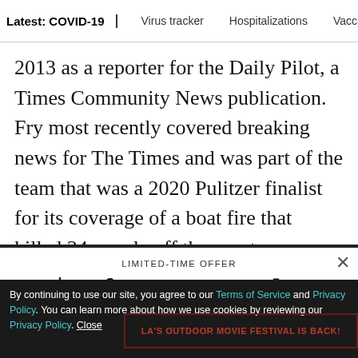Latest: COVID-19 | Virus tracker | Hospitalizations | Vacci
2013 as a reporter for the Daily Pilot, a Times Community News publication. Fry most recently covered breaking news for The Times and was part of the team that was a 2020 Pulitzer finalist for its coverage of a boat fire that killed 34 people off the coast
LIMITED-TIME OFFER
$1 for 6 Months
SUBSCRIBE NOW
By continuing to use our site, you agree to our Terms of Service and Privacy Policy. You can learn more about how we use cookies by reviewing our Privacy Policy. Close
LA'S OUTDOOR MOVIE FESTIVAL IS BACK!